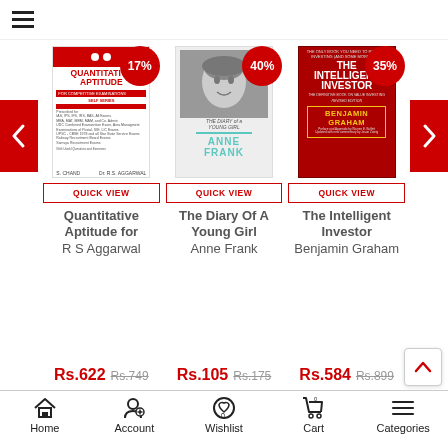Navigation menu (hamburger icon)
[Figure (other): Book product carousel with 3 books: Quantitative Aptitude by R S Aggarwal (17% off), The Diary Of A Young Girl by Anne Frank (40% off), The Intelligent Investor by Benjamin Graham (35% off), each with Quick View buttons]
Quantitative Aptitude for | R S Aggarwal
The Diary Of A Young Girl | Anne Frank
The Intelligent Investor | Benjamin Graham
Rs.622  Rs.749 | Rs.105  Rs.175 | Rs.584  Rs.899
Home  Account  Wishlist 0  Cart 0  Categories